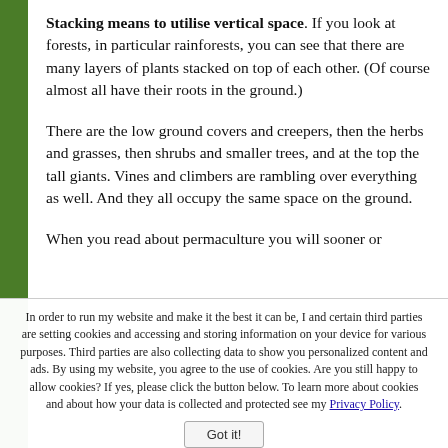Stacking means to utilise vertical space. If you look at forests, in particular rainforests, you can see that there are many layers of plants stacked on top of each other. (Of course almost all have their roots in the ground.)
There are the low ground covers and creepers, then the herbs and grasses, then shrubs and smaller trees, and at the top the tall giants. Vines and climbers are rambling over everything as well. And they all occupy the same space on the ground.
When you read about permaculture you will sooner or...
In order to run my website and make it the best it can be, I and certain third parties are setting cookies and accessing and storing information on your device for various purposes. Third parties are also collecting data to show you personalized content and ads. By using my website, you agree to the use of cookies. Are you still happy to allow cookies? If yes, please click the button below. To learn more about cookies and about how your data is collected and protected see my Privacy Policy.
Got it!